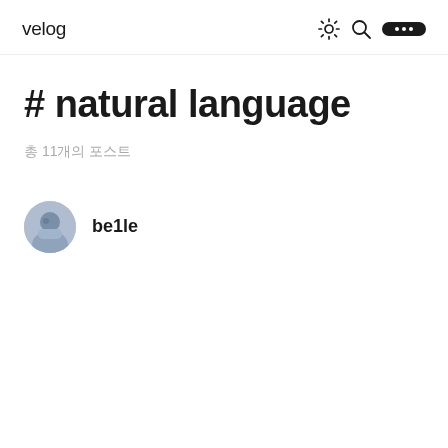velog
# natural language
총 11개의 포스트
be1le